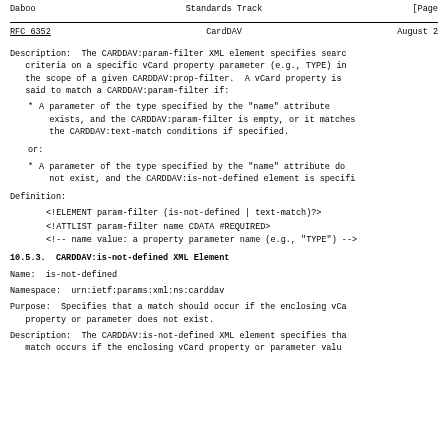Daboo                       Standards Track                        [Page
RFC 6352                         CardDAV                          August 2
Description:  The CARDDAV:param-filter XML element specifies search criteria on a specific vCard property parameter (e.g., TYPE) in the scope of a given CARDDAV:prop-filter.  A vCard property is said to match a CARDDAV:param-filter if:
* A parameter of the type specified by the "name" attribute exists, and the CARDDAV:param-filter is empty, or it matches the CARDDAV:text-match conditions if specified.
or:
* A parameter of the type specified by the "name" attribute do not exist, and the CARDDAV:is-not-defined element is specifi
Definition:
<!ELEMENT param-filter (is-not-defined | text-match)?>
<!ATTLIST param-filter name CDATA #REQUIRED>
<!-- name value: a property parameter name (e.g., "TYPE") -->
10.5.3.  CARDDAV:is-not-defined XML Element
Name:  is-not-defined
Namespace:  urn:ietf:params:xml:ns:carddav
Purpose:  Specifies that a match should occur if the enclosing vCa property or parameter does not exist.
Description:  The CARDDAV:is-not-defined XML element specifies tha match occurs if the enclosing vCard property or parameter valu